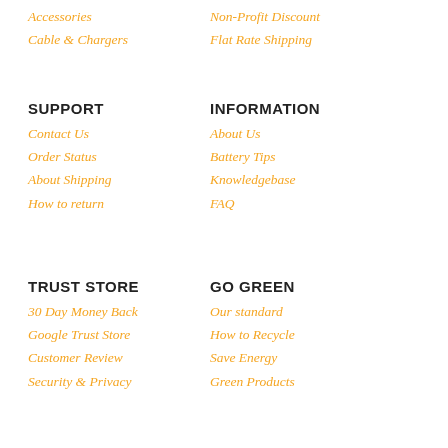Accessories
Non-Profit Discount
Cable & Chargers
Flat Rate Shipping
SUPPORT
INFORMATION
Contact Us
About Us
Order Status
Battery Tips
About Shipping
Knowledgebase
How to return
FAQ
TRUST STORE
GO GREEN
30 Day Money Back
Our standard
Google Trust Store
How to Recycle
Customer Review
Save Energy
Security & Privacy
Green Products